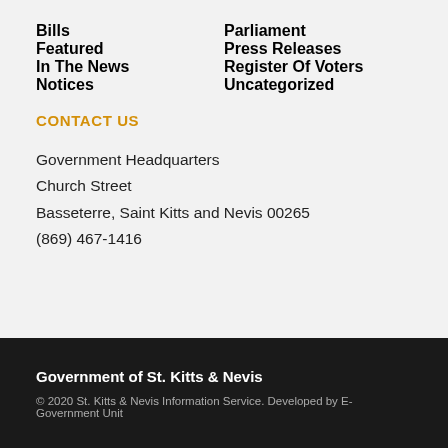Bills
Parliament
Featured
Press Releases
In The News
Register Of Voters
Notices
Uncategorized
CONTACT US
Government Headquarters
Church Street
Basseterre, Saint Kitts and Nevis 00265
(869) 467-1416
Government of St. Kitts & Nevis
© 2020 St. Kitts & Nevis Information Service. Developed by E-Government Unit